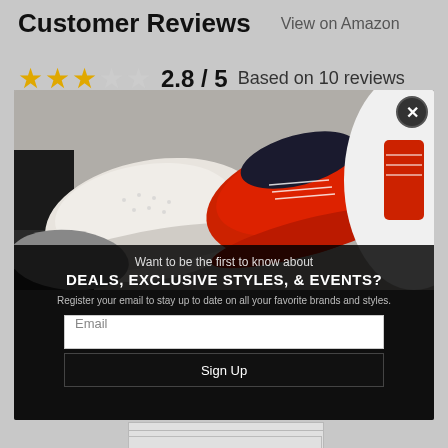Customer Reviews
View on Amazon
2.8 / 5  Based on 10 reviews
[Figure (screenshot): Modal popup overlay on a shoe retail website. Shows sneaker images at top (white perforated sneaker, red sneaker, white/red sneaker). Text reads: 'Want to be the first to know about DEALS, EXCLUSIVE STYLES, & EVENTS? Register your email to stay up to date on all your favorite brands and styles.' An email input field and Sign Up button are shown. A close (X) button is in the top right corner.]
All Stars